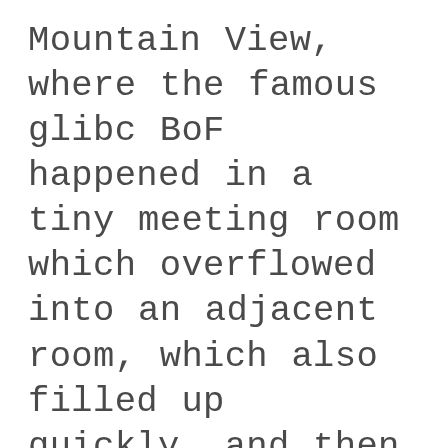Mountain View, where the famous glibc BoF happened in a tiny meeting room which overflowed into an adjacent room, which also filled up quickly, and then the BoF overran its 45 minute slot by roughly a couple of hours! Carlos joined the BoF over Hangout (I think it was called Google Talk then) because he couldn't make it and we had a lengthy back and forth about